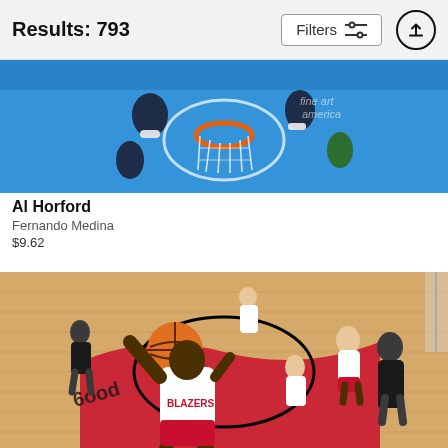Results: 793
[Figure (photo): Overhead view of NBA basketball game with players around a hoop on a blue court, with 'fine art america' watermark]
Al Horford
Fernando Medina
$9.62
[Figure (photo): Portland Trail Blazers player in white BLAZERS jersey going up for a dunk with basketball, other players visible on the court]